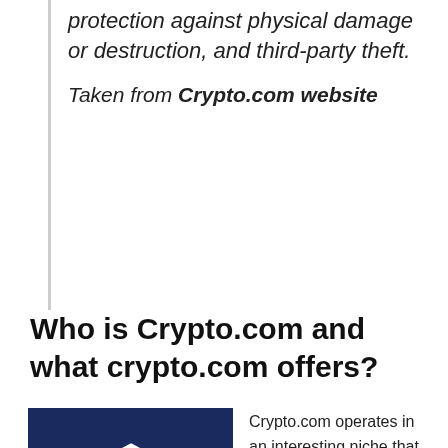protection against physical damage or destruction, and third-party theft.
Taken from Crypto.com website
Who is Crypto.com and what crypto.com offers?
[Figure (logo): Crypto.com logo — dark navy blue square with white hexagonal shield icon containing a stylized figure, and 'crypto.com' text below]
Crypto.com operates in an interesting niche that few other blockchain companies are willing to enter.